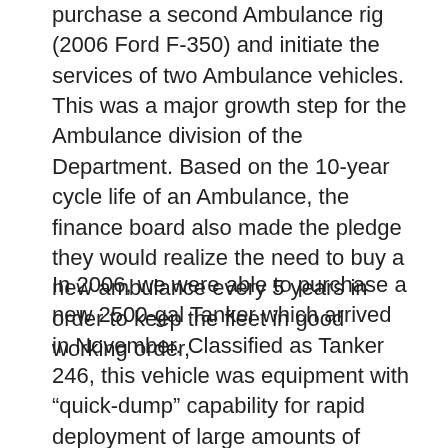purchase a second Ambulance rig (2006 Ford F-350) and initiate the services of two Ambulance vehicles. This was a major growth step for the Ambulance division of the Department. Based on the 10-year cycle life of an Ambulance, the finance board also made the pledge they would realize the need to buy a new ambulance every 5 years in order to keep the fleet in good working order,
In 2006, we were able to purchase a new 2500-gal Tanker which arrived in November. Classified as Tanker 246, this vehicle was equipment with “quick-dump” capability for rapid deployment of large amounts of water for firefighting. It made Somers only the second Department in the County to switch to